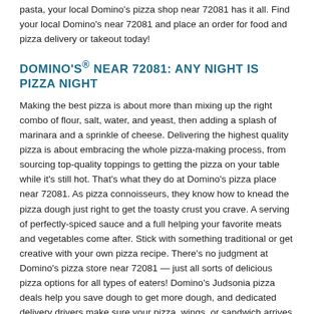pasta, your local Domino's pizza shop near 72081 has it all. Find your local Domino's near 72081 and place an order for food and pizza delivery or takeout today!
DOMINO'S® NEAR 72081: ANY NIGHT IS PIZZA NIGHT
Making the best pizza is about more than mixing up the right combo of flour, salt, water, and yeast, then adding a splash of marinara and a sprinkle of cheese. Delivering the highest quality pizza is about embracing the whole pizza-making process, from sourcing top-quality toppings to getting the pizza on your table while it's still hot. That's what they do at Domino's pizza place near 72081. As pizza connoisseurs, they know how to knead the pizza dough just right to get the toasty crust you crave. A serving of perfectly-spiced sauce and a full helping your favorite meats and vegetables come after. Stick with something traditional or get creative with your own pizza recipe. There's no judgment at Domino's pizza store near 72081 — just all sorts of delicious pizza options for all types of eaters! Domino's Judsonia pizza deals help you save dough to get more dough, and dedicated delivery drivers make sure your pizza, wings, or sandwich arrives at your door just the way you ordered them.